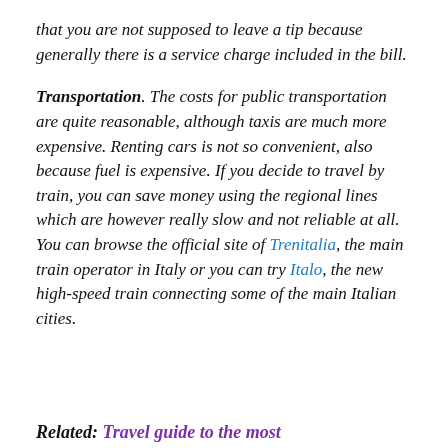that you are not supposed to leave a tip because generally there is a service charge included in the bill.
Transportation. The costs for public transportation are quite reasonable, although taxis are much more expensive. Renting cars is not so convenient, also because fuel is expensive. If you decide to travel by train, you can save money using the regional lines which are however really slow and not reliable at all. You can browse the official site of Trenitalia, the main train operator in Italy or you can try Italo, the new high-speed train connecting some of the main Italian cities.
Related: Travel guide to the most